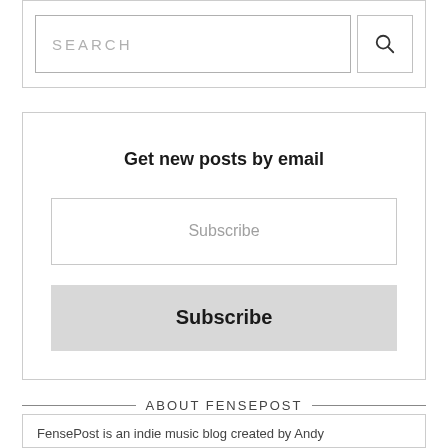[Figure (screenshot): Search input box with placeholder text SEARCH and a magnifying glass button]
Get new posts by email
[Figure (screenshot): Email subscription form with a Subscribe input field and a Subscribe button]
ABOUT FENSEPOST
FensePost is an indie music blog created by Andy